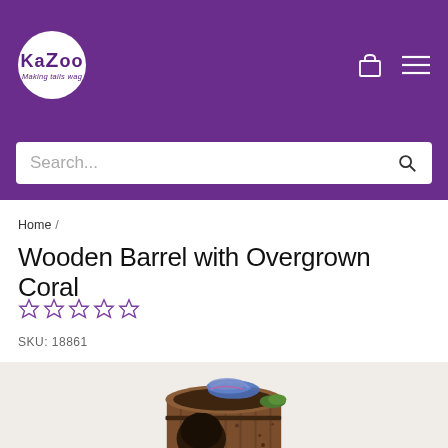[Figure (logo): Kazoo pet brand logo — white circle with purple 'KaZoo' text and tagline 'Making tails wag' on purple header background]
Search...
Home /
Wooden Barrel with Overgrown Coral
☆☆☆☆☆
SKU: 18861
[Figure (photo): Aquarium ornament: a wooden barrel with overgrown coral — dark brown barrel with open front cavity, blue/purple coral on top, green moss accents]